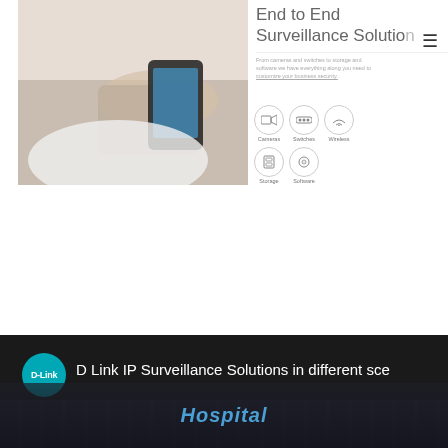[Figure (logo): DVRSA - Digital Video Recording Systems Australia logo with teal background and globe icon]
[Figure (photo): Person holding smartphone, hero image with hands visible]
End to End Surveillance Solutio...
From cameras and switches to storage and software we have everything along you need to customize your business security.
[Figure (infographic): Icon row with circles: Cameras, Switches, Wireless, Storage, Software]
[Figure (screenshot): D-Link video thumbnail showing hospital building at night with text: D Link IP Surveillance Solutions in different sce...]